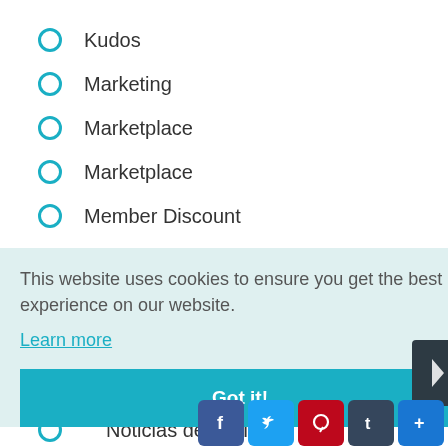Kudos
Marketing
Marketplace
Marketplace
Member Discount
Membership Corner
Membership Matters
This website uses cookies to ensure you get the best experience on our website. Learn more
Got it!
Noticias de CHTA